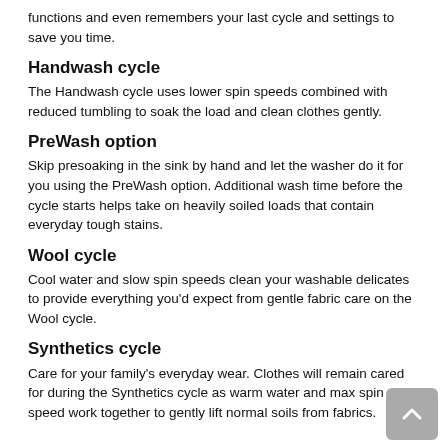functions and even remembers your last cycle and settings to save you time.
Handwash cycle
The Handwash cycle uses lower spin speeds combined with reduced tumbling to soak the load and clean clothes gently.
PreWash option
Skip presoaking in the sink by hand and let the washer do it for you using the PreWash option. Additional wash time before the cycle starts helps take on heavily soiled loads that contain everyday tough stains.
Wool cycle
Cool water and slow spin speeds clean your washable delicates to provide everything you'd expect from gentle fabric care on the Wool cycle.
Synthetics cycle
Care for your family's everyday wear. Clothes will remain cared for during the Synthetics cycle as warm water and max spin speed work together to gently lift normal soils from fabrics.